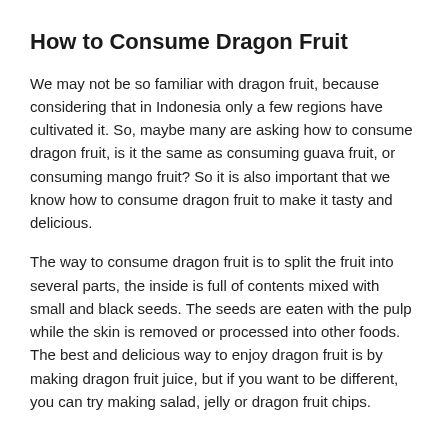How to Consume Dragon Fruit
We may not be so familiar with dragon fruit, because considering that in Indonesia only a few regions have cultivated it. So, maybe many are asking how to consume dragon fruit, is it the same as consuming guava fruit, or consuming mango fruit? So it is also important that we know how to consume dragon fruit to make it tasty and delicious.
The way to consume dragon fruit is to split the fruit into several parts, the inside is full of contents mixed with small and black seeds. The seeds are eaten with the pulp while the skin is removed or processed into other foods. The best and delicious way to enjoy dragon fruit is by making dragon fruit juice, but if you want to be different, you can try making salad, jelly or dragon fruit chips.